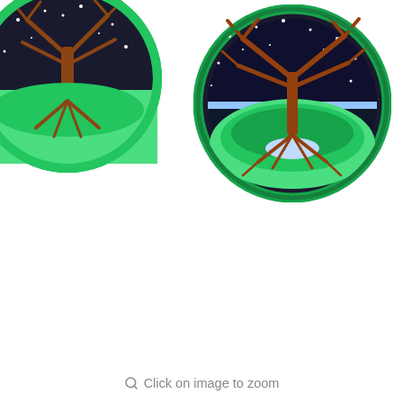[Figure (photo): Two circular embroidered iron-on patches showing a Tree of Life design. The patches have bright green borders. The design features a brown tree with branches above and roots below, set against a night sky (top half, dark with white dots/stars) and a daytime landscape (bottom half, green and light blue). One patch is partially visible in the top-left corner, and a second full patch is visible on the right side.]
Click on image to zoom
[Figure (photo): Small thumbnail image with cyan/teal border (selected state).]
Tree of Life iron-on patch 3"
Price:  $5.95